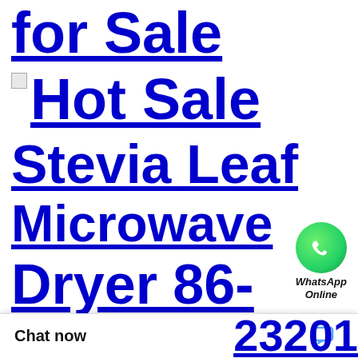for Sale
Hot Sale
Stevia Leaf
[Figure (logo): WhatsApp green circle icon with phone handset, labeled 'WhatsApp Online']
Microwave
Dryer 86-
Chat now
23201